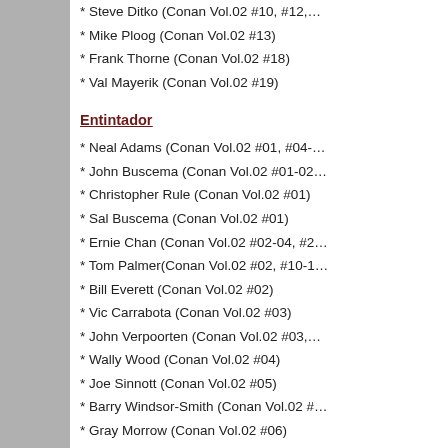* Steve Ditko (Conan Vol.02 #10, #12,…
* Mike Ploog (Conan Vol.02 #13)
* Frank Thorne (Conan Vol.02 #18)
* Val Mayerik (Conan Vol.02 #19)
Entintador
* Neal Adams (Conan Vol.02 #01, #04-…
* John Buscema (Conan Vol.02 #01-02…
* Christopher Rule (Conan Vol.02 #01)
* Sal Buscema (Conan Vol.02 #01)
* Ernie Chan (Conan Vol.02 #02-04, #2…
* Tom Palmer(Conan Vol.02 #02, #10-1…
* Bill Everett (Conan Vol.02 #02)
* Vic Carrabota (Conan Vol.02 #03)
* John Verpoorten (Conan Vol.02 #03,…
* Wally Wood (Conan Vol.02 #04)
* Joe Sinnott (Conan Vol.02 #05)
* Barry Windsor-Smith (Conan Vol.02 #…
* Gray Morrow (Conan Vol.02 #06)
* Al Milgrom (Conan Vol.02 #06-07)
* Bernie Wrightson (Conan Vol.02 #07)